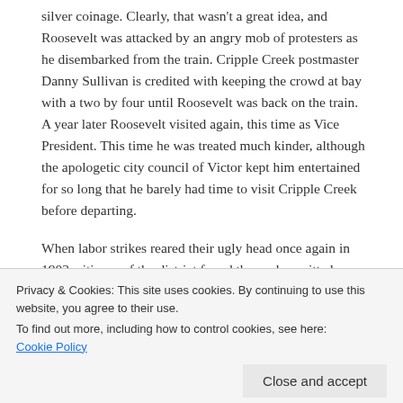silver coinage. Clearly, that wasn't a great idea, and Roosevelt was attacked by an angry mob of protesters as he disembarked from the train. Cripple Creek postmaster Danny Sullivan is credited with keeping the crowd at bay with a two by four until Roosevelt was back on the train. A year later Roosevelt visited again, this time as Vice President. This time he was treated much kinder, although the apologetic city council of Victor kept him entertained for so long that he barely had time to visit Cripple Creek before departing.
When labor strikes reared their ugly head once again in 1903, citizens of the district found themselves pitted
Privacy & Cookies: This site uses cookies. By continuing to use this website, you agree to their use.
To find out more, including how to control cookies, see here:
Cookie Policy
from the district, and one time the entire staff of the